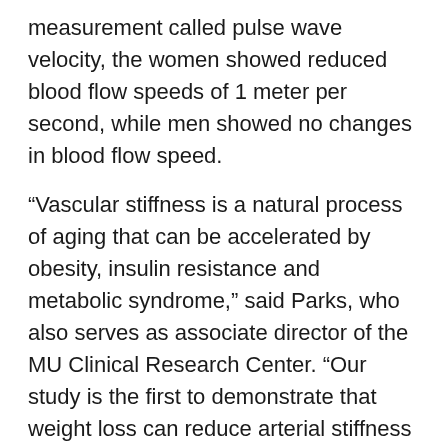measurement called pulse wave velocity, the women showed reduced blood flow speeds of 1 meter per second, while men showed no changes in blood flow speed.
“Vascular stiffness is a natural process of aging that can be accelerated by obesity, insulin resistance and metabolic syndrome,” said Parks, who also serves as associate director of the MU Clinical Research Center. “Our study is the first to demonstrate that weight loss can reduce arterial stiffness in as little as four weeks and that dietary carbohydrate restriction may be an effective treatment for reducing aortic stiffness in women.”
The study, “Effect of carbohydrate restriction-induced weight loss on aortic pulse wave velocity in